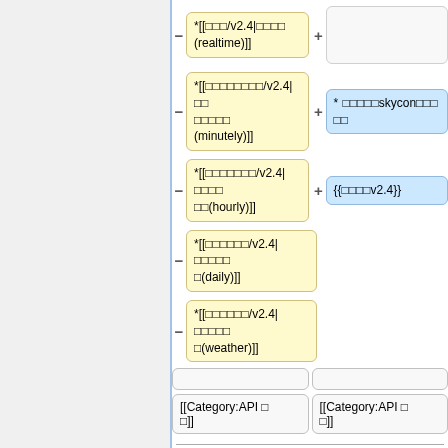*[[□□□/v2.4|□□□□(realtime)]]
*[[□□□□□□□□/v2.4|□□□□□□□(minutely)]]
* □□□□□skycon□□□□
*[[□□□□□□□/v2.4|□□□□□□(hourly)]]
{{□□□□v2.4}}
*[[□□□□□□/v2.4|□□□□□(daily)]]
*[[□□□□□□/v2.4|□□□□□(weather)]]
[[Category:API □□]]
[[Category:API □□]]
Latest revision as of 04:41, 18 March 2019